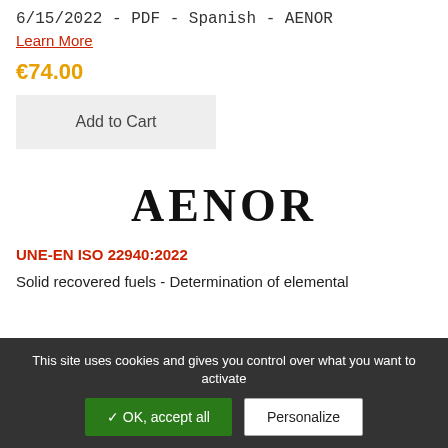6/15/2022 - PDF - Spanish - AENOR
Learn More
€74.00
Add to Cart
[Figure (logo): AENOR logo text in large bold serif font]
UNE-EN ISO 22940:2022
Solid recovered fuels - Determination of elemental
This site uses cookies and gives you control over what you want to activate